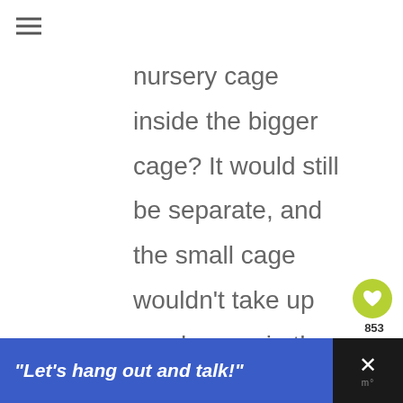nursery cage inside the bigger cage? It would still be separate, and the small cage wouldn't take up much room in the big cage, and I move the chrysalises
[Figure (infographic): Heart/like button (green circle with white heart icon), like count 853, and share button (white circle with share icon)]
[Figure (infographic): Bottom ad banner: blue section with italic bold white text reading "Let's hang out and talk!", followed by dark section with X close button and logo mark]